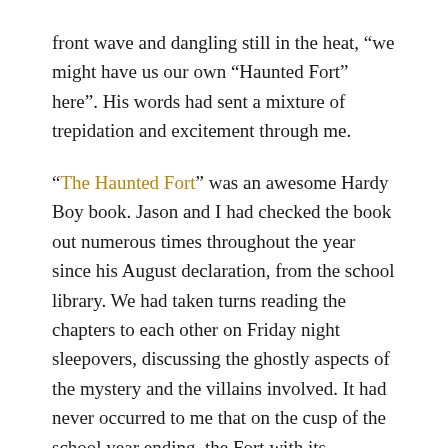front wave and dangling still in the heat, “we might have us our own “Haunted Fort” here”. His words had sent a mixture of trepidation and excitement through me.
“The Haunted Fort” was an awesome Hardy Boy book. Jason and I had checked the book out numerous times throughout the year since his August declaration, from the school library. We had taken turns reading the chapters to each other on Friday night sleepovers, discussing the ghostly aspects of the mystery and the villains involved. It had never occurred to me that on the cusp of the school year ending, the Fort with its foreboding shadow, no more than a half mile from where I lay, might yield an actual mystery.
Monday, May 22,1972, 2:24 A.M.